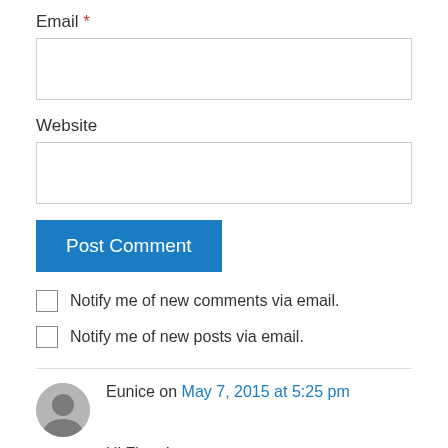Email *
Website
Post Comment
Notify me of new comments via email.
Notify me of new posts via email.
Eunice on May 7, 2015 at 5:25 pm
Hi Fiona!
I chanced upon your blog when I was searching